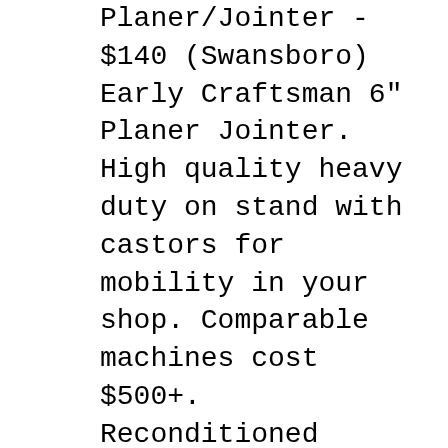Planer/Jointer - $140 (Swansboro) Early Craftsman 6" Planer Jointer. High quality heavy duty on stand with castors for mobility in your shop. Comparable machines cost $500+. Reconditioned motor. This is an older high quality Craftsman 6 inch planer/jointer. It is on heavy duty stands with castors to roll around in your shop. Heavy
Here are the repair parts and diagrams for your Craftsman 113232200 craftsman 6-1/8-inch jointer-planer. The diagram(s) below can help you find the right part. If youвЂ™d like help, we invite you to call our customer service number at the top of the page, or click chat. Craftsman Planer/Jointer - $140